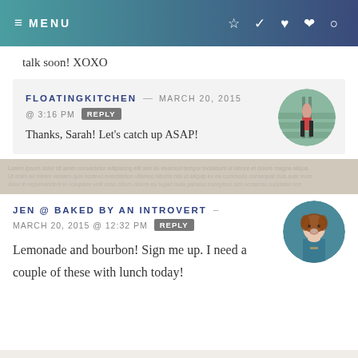MENU
talk soon! XOXO
FLOATINGKITCHEN — MARCH 20, 2015 @ 3:16 PM REPLY
Thanks, Sarah! Let's catch up ASAP!
[Figure (photo): Circular avatar photo of a person in a greenhouse/farm setting with green rows of plants]
[Figure (photo): Decorative horizontal banner image with text/pattern background]
JEN @ BAKED BY AN INTROVERT — MARCH 20, 2015 @ 12:32 PM REPLY
Lemonade and bourbon! Sign me up. I need a couple of these with lunch today!
[Figure (photo): Circular avatar photo of a smiling woman with brown hair wearing a teal top]